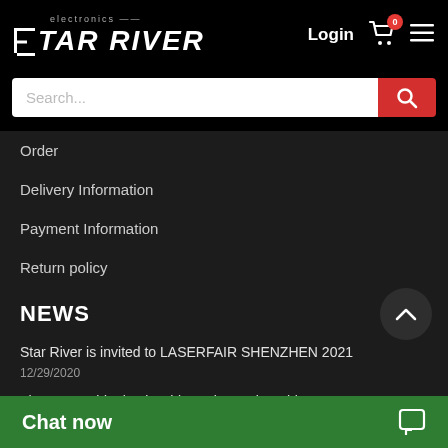Star River Electronics — Login, Cart, Menu
[Figure (logo): Star River Electronics logo with G bracket icon, electronics text, Login button, cart icon with 0 badge, hamburger menu]
Search...
Order
Delivery Information
Payment Information
Return policy
NEWS
Star River is invited to LASERFAIR SHENZHEN 2021
12/29/2020
The new Gold Mine in China: Electronics Chips
01/04/2021
Chat now